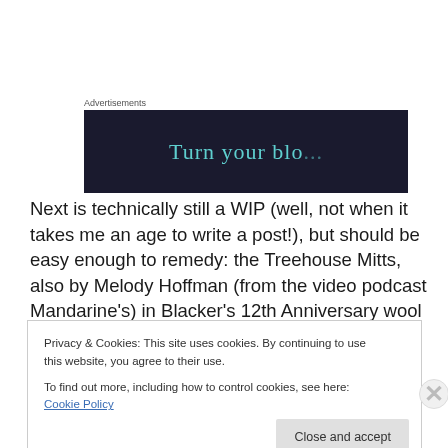Advertisements
[Figure (other): Dark navy advertisement banner with teal/cyan text reading 'Turn your blo...' (partially visible)]
Next is technically still a WIP (well, not when it takes me an age to write a post!), but should be easy enough to remedy: the Treehouse Mitts, also by Melody Hoffman (from the video podcast Mandarine's) in Blacker's 12th Anniversary wool called Brushwork, in the colourway
Privacy & Cookies: This site uses cookies. By continuing to use this website, you agree to their use.
To find out more, including how to control cookies, see here: Cookie Policy
Close and accept